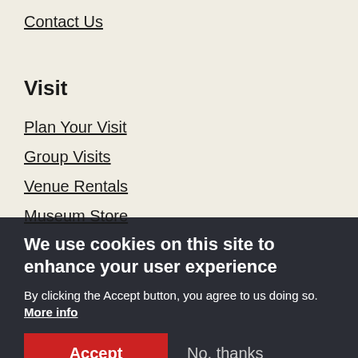Contact Us
Visit
Plan Your Visit
Group Visits
Venue Rentals
Museum Store
We use cookies on this site to enhance your user experience
By clicking the Accept button, you agree to us doing so.  More info
Accept  No, thanks